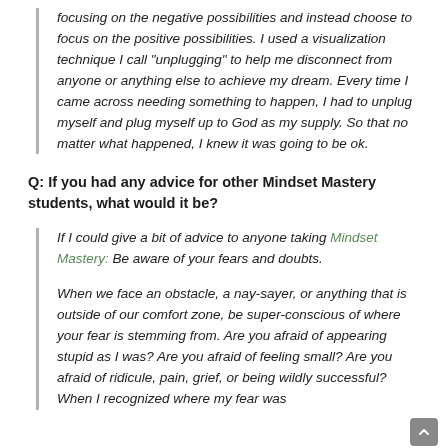focusing on the negative possibilities and instead choose to focus on the positive possibilities. I used a visualization technique I call "unplugging" to help me disconnect from anyone or anything else to achieve my dream. Every time I came across needing something to happen, I had to unplug myself and plug myself up to God as my supply. So that no matter what happened, I knew it was going to be ok.
Q: If you had any advice for other Mindset Mastery students, what would it be?
If I could give a bit of advice to anyone taking Mindset Mastery: Be aware of your fears and doubts.
When we face an obstacle, a nay-sayer, or anything that is outside of our comfort zone, be super-conscious of where your fear is stemming from. Are you afraid of appearing stupid as I was? Are you afraid of feeling small? Are you afraid of ridicule, pain, grief, or being wildly successful? When I recognized where my fear was